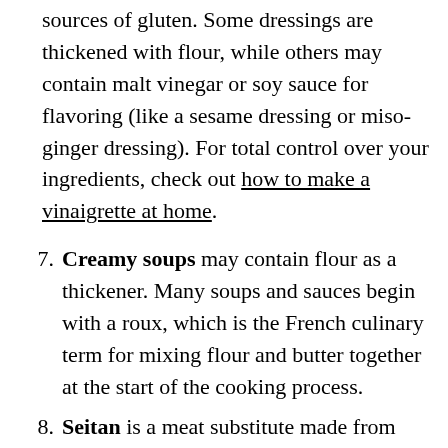sources of gluten. Some dressings are thickened with flour, while others may contain malt vinegar or soy sauce for flavoring (like a sesame dressing or miso-ginger dressing). For total control over your ingredients, check out how to make a vinaigrette at home.
7. Creamy soups may contain flour as a thickener. Many soups and sauces begin with a roux, which is the French culinary term for mixing flour and butter together at the start of the cooking process.
8. Seitan is a meat substitute made from wheat. In fact, seitan begins from an ingredient